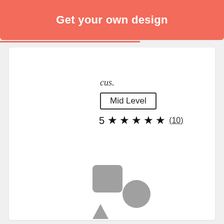Get your own design
cus.
Mid Level
5 ★★★★★ (10)
[Figure (illustration): Grey geometric shapes: a rounded square, a circle, and a triangle arranged together as a placeholder image icon]